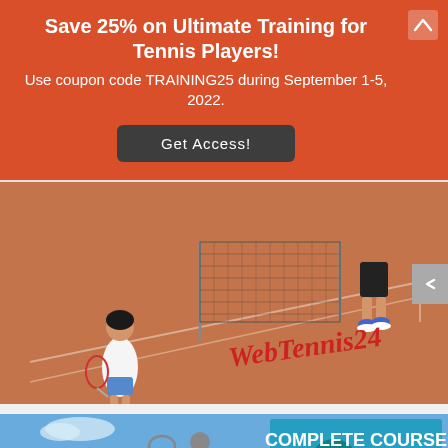Save 25% on Ultimate Training for Tennis Players!
Use coupon code TRAINING25 during September 1-5, 2022.
[Figure (other): Button reading 'Get Access!' in dark gray/charcoal background with white text]
[Figure (photo): Tennis court clay surface photo showing two players at the net, one with white shirt holding a racket. WebTennis24 logo in red cursive script overlaid on image.]
[Figure (photo): Partial image showing tennis player serving against blue sky background, with text overlay reading 'COMPLETE COURSE FOR' in bold cyan/white letters on right side.]